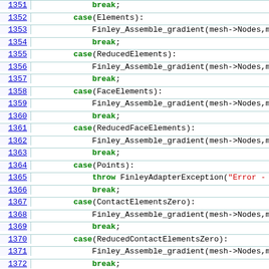Source code listing lines 1351-1372 showing C++ switch-case code for Finley_Assemble_gradient calls
1351:             break;
1352:         case(Elements):
1353:             Finley_Assemble_gradient(mesh->Nodes,mes
1354:             break;
1355:         case(ReducedElements):
1356:             Finley_Assemble_gradient(mesh->Nodes,mes
1357:             break;
1358:         case(FaceElements):
1359:             Finley_Assemble_gradient(mesh->Nodes,mes
1360:             break;
1361:         case(ReducedFaceElements):
1362:             Finley_Assemble_gradient(mesh->Nodes,mes
1363:             break;
1364:         case(Points):
1365:             throw FinleyAdapterException("Error - Gr
1366:             break;
1367:         case(ContactElementsZero):
1368:             Finley_Assemble_gradient(mesh->Nodes,mes
1369:             break;
1370:         case(ReducedContactElementsZero):
1371:             Finley_Assemble_gradient(mesh->Nodes,mes
1372:             break;